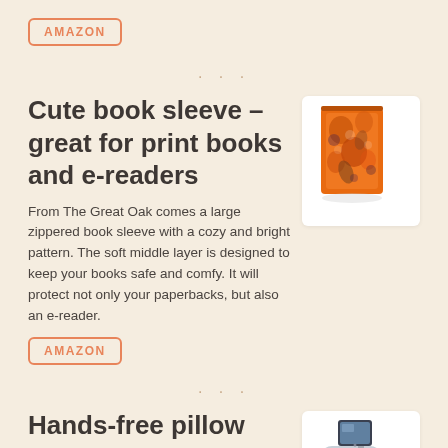AMAZON
. . .
Cute book sleeve – great for print books and e-readers
[Figure (photo): Orange floral zippered book sleeve]
From The Great Oak comes a large zippered book sleeve with a cozy and bright pattern. The soft middle layer is designed to keep your books safe and comfy. It will protect not only your paperbacks, but also an e-reader.
AMAZON
. . .
Hands-free pillow stand – great for e-
[Figure (photo): Hands-free pillow stand with e-reader device]